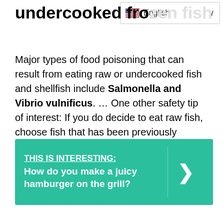undercooked frozen fish
[Figure (other): Language selector widget showing English with a US flag and dropdown chevron]
Major types of food poisoning that can result from eating raw or undercooked fish and shellfish include Salmonella and Vibrio vulnificus. … One other safety tip of interest: If you do decide to eat raw fish, choose fish that has been previously frozen. That's because freezing will kill any potential parasites present.
THIS IS INTERESTING:  How do you make a juicy hamburger on the grill?